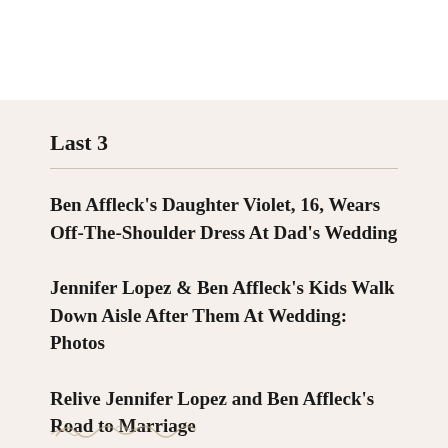Last 3
Ben Affleck's Daughter Violet, 16, Wears Off-The-Shoulder Dress At Dad's Wedding
Jennifer Lopez & Ben Affleck's Kids Walk Down Aisle After Them At Wedding: Photos
Relive Jennifer Lopez and Ben Affleck's Road to Marriage